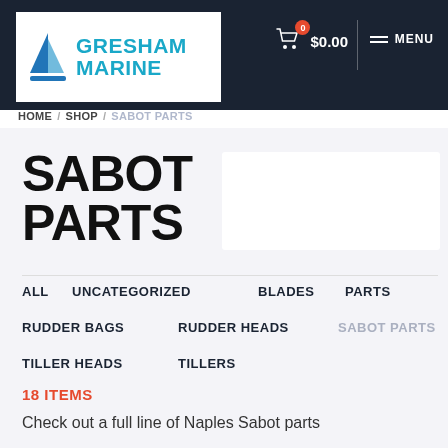Gresham Marine — $0.00 cart — MENU
[Figure (logo): Gresham Marine logo with blue sailboat icon and teal text]
HOME / SHOP / SABOT PARTS
SABOT PARTS
ALL
UNCATEGORIZED
BLADES
PARTS
RUDDER BAGS
RUDDER HEADS
SABOT PARTS
TILLER HEADS
TILLERS
18 ITEMS
Check out a full line of Naples Sabot parts